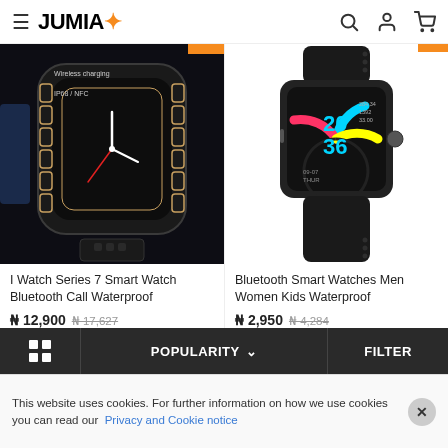JUMIA
[Figure (photo): I Watch Series 7 smart watch with dark face showing analog clock, text 'Wireless charging' and 'IP68 / NFC' on dark background]
[Figure (photo): Bluetooth Smart Watch with colorful circular display showing time 20:36, black band, on white background]
I Watch Series 7 Smart Watch Bluetooth Call Waterproof
₦ 12,900 ₦ 17,627
★★★★☆ (82)
Bluetooth Smart Watches Men Women Kids Waterproof
₦ 2,950 ₦ 4,284
★★★★☆ (42)
POPULARITY ∨  FILTER
This website uses cookies. For further information on how we use cookies you can read our Privacy and Cookie notice